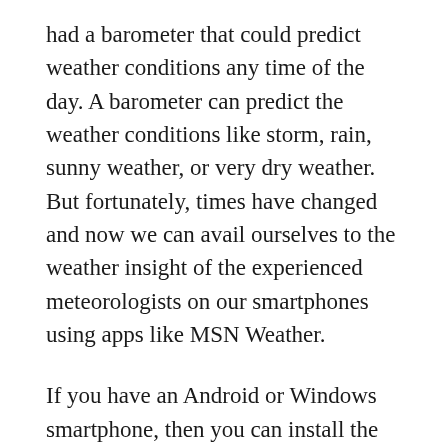had a barometer that could predict weather conditions any time of the day. A barometer can predict the weather conditions like storm, rain, sunny weather, or very dry weather. But fortunately, times have changed and now we can avail ourselves to the weather insight of the experienced meteorologists on our smartphones using apps like MSN Weather.
If you have an Android or Windows smartphone, then you can install the MSN Weather app and stay in touch with the latest weather conditions in your local area. After installing the app, you can either specify the location manually or you can use the GPS service of your device to automatically locate your place. Once this is done, your local weather is displayed on your phone's screen. You can see the weather forecast along with the